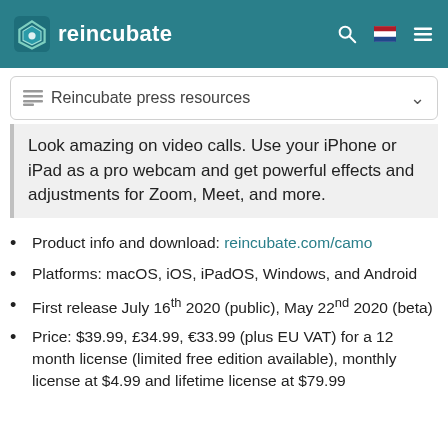reincubate
Reincubate press resources
Look amazing on video calls. Use your iPhone or iPad as a pro webcam and get powerful effects and adjustments for Zoom, Meet, and more.
Product info and download: reincubate.com/camo
Platforms: macOS, iOS, iPadOS, Windows, and Android
First release July 16th 2020 (public), May 22nd 2020 (beta)
Price: $39.99, £34.99, €33.99 (plus EU VAT) for a 12 month license (limited free edition available), monthly license at $4.99 and lifetime license at $79.99